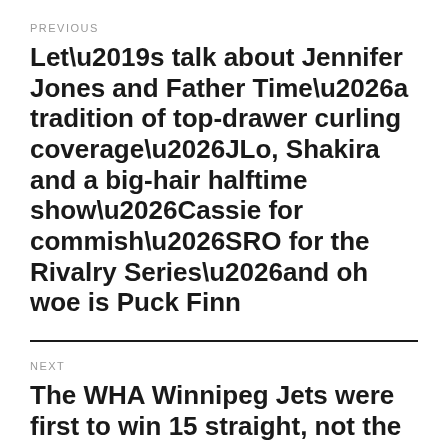PREVIOUS
Let’s talk about Jennifer Jones and Father Time…a tradition of top-drawer curling coverage…JLo, Shakira and a big-hair halftime show…Cassie for commish…SRO for the Rivalry Series…and oh woe is Puck Finn
NEXT
The WHA Winnipeg Jets were first to win 15 straight, not the